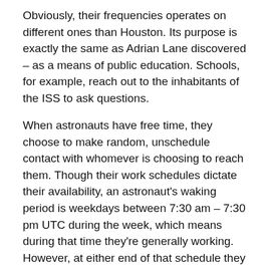Obviously, their frequencies operates on different ones than Houston. Its purpose is exactly the same as Adrian Lane discovered – as a means of public education. Schools, for example, reach out to the inhabitants of the ISS to ask questions.
When astronauts have free time, they choose to make random, unschedule contact with whomever is choosing to reach them. Though their work schedules dictate their availability, an astronaut's waking period is weekdays between 7:30 am – 7:30 pm UTC during the week, which means during that time they're generally working. However, at either end of that schedule they might be available, as well as weekends, when more free time is also available.
Crews don't scan but switch between frequencies,